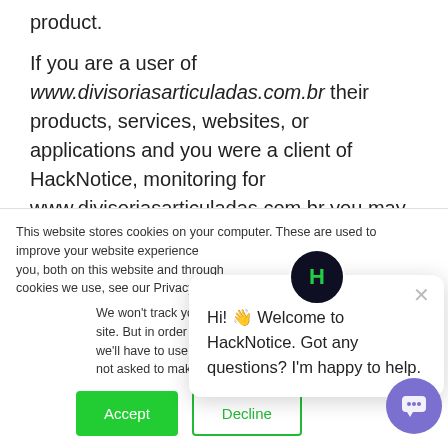product.
If you are a user of www.divisoriasarticuladas.com.br their products, services, websites, or applications and you were a client of HackNotice, monitoring for www.divisoriasarticuladas.com.br you may have been alerted to this report about www.divisoriasarticuladas.com.br . HackNotice is a
This website stores cookies on your computer. These are used to improve your website experience you, both on this website and through cookies we use, see our Privacy P
We won't track your site. But in order to we'll have to use jus not asked to make this choice again.
Hi! 👋 Welcome to HackNotice. Got any questions? I'm happy to help.
Accept
Decline